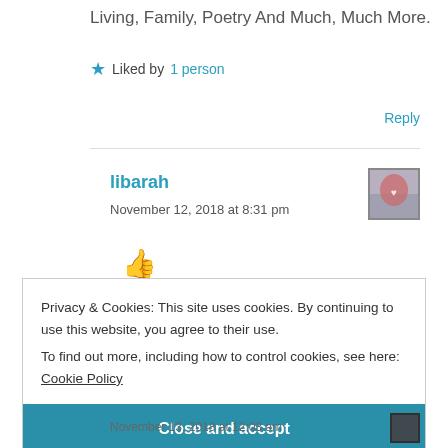Living, Family, Poetry And Much, Much More.
★ Liked by 1 person
Reply
libarah
November 12, 2018 at 8:31 pm
[Figure (other): Thumbs up emoji icon in peach/skin tone color]
Privacy & Cookies: This site uses cookies. By continuing to use this website, you agree to their use.
To find out more, including how to control cookies, see here: Cookie Policy
Close and accept
November 13, 2018 at 12:03 am